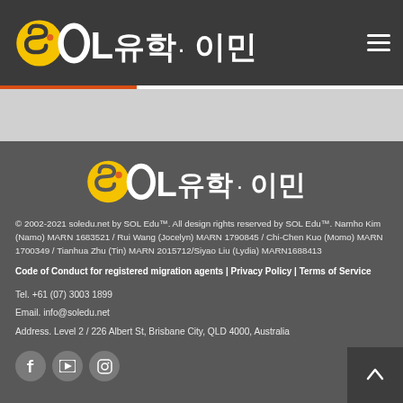SOL유학·이민 (header logo with hamburger menu)
[Figure (logo): SOL 유학·이민 logo centered in footer]
© 2002-2021 soledu.net by SOL Edu™. All design rights reserved by SOL Edu™. Namho Kim (Namo) MARN 1683521 /  Rui Wang (Jocelyn) MARN 1790845 / Chi-Chen Kuo (Momo) MARN 1700349 / Tianhua Zhu (Tin) MARN 2015712/Siyao Liu (Lydia) MARN1688413
Code of Conduct for registered migration agents | Privacy Policy | Terms of Service
Tel. +61 (07) 3003 1899
Email. info@soledu.net
Address. Level 2 / 226 Albert St, Brisbane City, QLD 4000, Australia